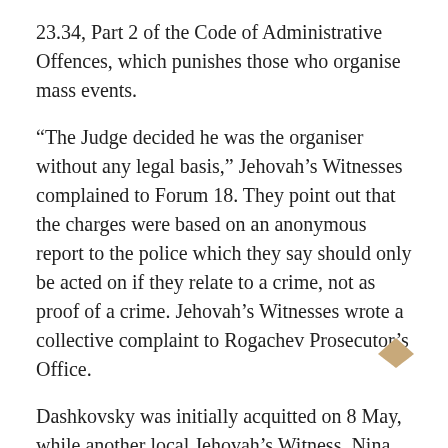23.34, Part 2 of the Code of Administrative Offences, which punishes those who organise mass events.
“The Judge decided he was the organiser without any legal basis,” Jehovah’s Witnesses complained to Forum 18. They point out that the charges were based on an anonymous report to the police which they say should only be acted on if they relate to a crime, not as proof of a crime. Jehovah’s Witnesses wrote a collective complaint to Rogachev Prosecutor’s Office.
Dashkovsky was initially acquitted on 8 May, while another local Jehovah’s Witness, Nina Volchkova, was acquitted on 18 May. However, a new trial for Dashkovsky was called after police chief Viktor Pekurin appealed against his acquittal.
Complaint rejected